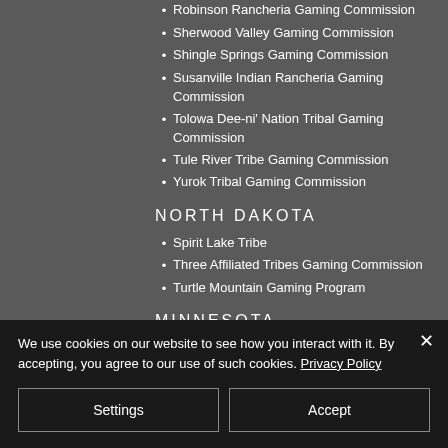Robinson Rancheria Gaming Commission
Sherwood Valley Gaming Commission
Shingle Springs Gaming Commission
Susanville Indian Rancheria Gaming Commission
Tolowa Dee-ni' Nation Tribal Gaming Commission
Tule River Tribe Gaming Commission
Yurok Tribal Gaming Commission
NORTH DAKOTA
Spirit Lake Tribe
Three Affiliated Tribes Gaming Commission
Turtle Mountain Gaming Program
MINNESOTA
We use cookies on our website to see how you interact with it. By accepting, you agree to our use of such cookies. Privacy Policy
Settings
Accept